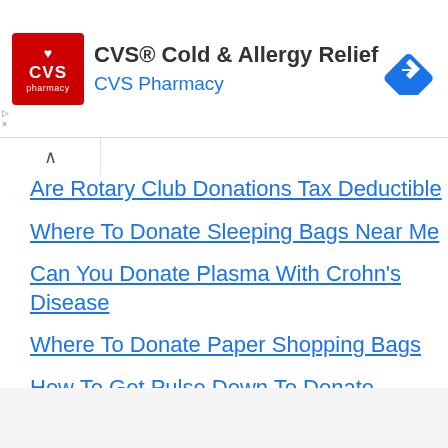[Figure (other): CVS Pharmacy advertisement banner with CVS logo (red square), text 'CVS® Cold & Allergy Relief' and 'CVS Pharmacy' in blue, and a blue diamond navigation arrow icon.]
Are Rotary Club Donations Tax Deductible
Where To Donate Sleeping Bags Near Me
Can You Donate Plasma With Crohn's Disease
Where To Donate Paper Shopping Bags
How To Get Pulse Down To Donate Plasma
How To Donate Eggs Florida
Can You Donate Plasma After A Colonoscopy